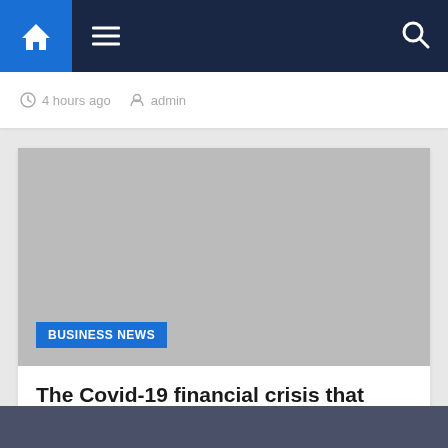Navigation bar with home, menu, and search icons
4 hours ago  admin
[Figure (screenshot): Gray image placeholder with BUSINESS NEWS category tag in blue]
The Covid-19 financial crisis that wasn't
5 hours ago  admin
Dark footer bar